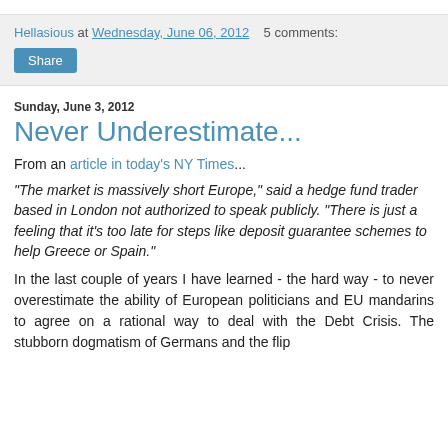Hellasious at Wednesday, June 06, 2012   5 comments:
Share
Sunday, June 3, 2012
Never Underestimate...
From an article in today's NY Times...
“The market is massively short Europe,” said a hedge fund trader based in London not authorized to speak publicly. “There is just a feeling that it’s too late for steps like deposit guarantee schemes to help Greece or Spain.”
In the last couple of years I have learned - the hard way - to never overestimate the ability of European politicians and EU mandarins to agree on a rational way to deal with the Debt Crisis. The stubborn dogmatism of Germans and the flip...